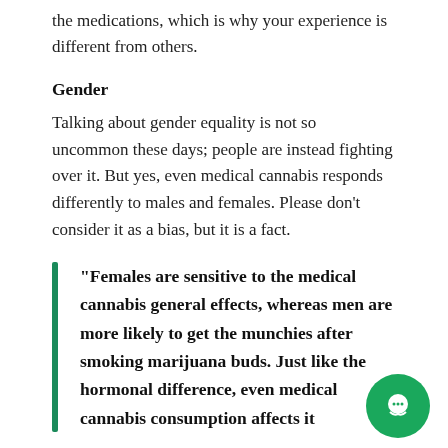the medications, which is why your experience is different from others.
Gender
Talking about gender equality is not so uncommon these days; people are instead fighting over it. But yes, even medical cannabis responds differently to males and females. Please don’t consider it as a bias, but it is a fact.
“Females are sensitive to the medical cannabis general effects, whereas men are more likely to get the munchies after smoking marijuana buds. Just like the hormonal difference, even medical cannabis consumption affects it